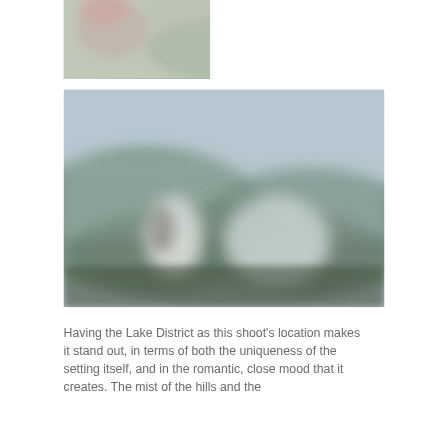[Figure (photo): Blurred outdoor photo, partially visible at top of page, showing muted greens and grays with hints of pink/floral element, cropped from a larger image above]
[Figure (photo): Blurred outdoor photo of what appears to be a misty Lake District landscape with two figures (possibly bride and groom) standing in a field, with soft white/gray tones and green hills in the background]
Having the Lake District as this shoot's location makes it stand out, in terms of both the uniqueness of the setting itself, and in the romantic, close mood that it creates. The mist of the hills and the